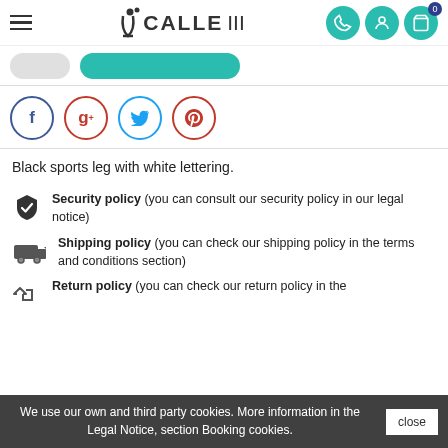UCALLE III - navigation header with logo and icons
[Figure (screenshot): Social share buttons: Facebook, Google+, Twitter, Pinterest circles]
Black sports leg with white lettering.
Security policy (you can consult our security policy in our legal notice)
Shipping policy (you can check our shipping policy in the terms and conditions section)
Return policy (you can check our return policy in the...
We use our own and third party cookies. More information in the Legal Notice, section Booking cookies.